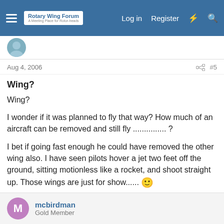Rotary Wing Forum — A Meeting Place for Rotor-heads | Log in | Register
Aug 4, 2006 #5
Wing?
Wing?

I wonder if it was planned to fly that way? How much of an aircraft can be removed and still fly ............... ?

I bet if going fast enough he could have removed the other wing also. I have seen pilots hover a jet two feet off the ground, sitting motionless like a rocket, and shoot straight up. Those wings are just for show...... 🙂

Thomas
mcbirdman
Gold Member